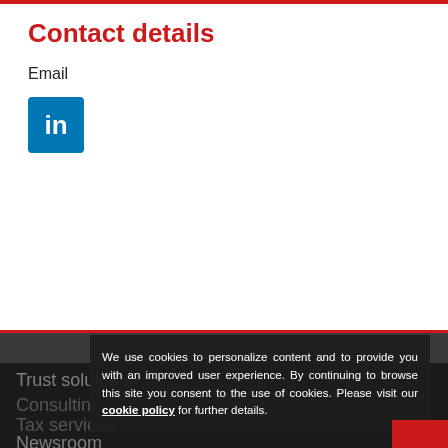Contact details
Email
[Figure (logo): LinkedIn icon - blue square with white 'in' text]
Trust solutions
Consulting
Tax services
Newsroom
We use cookies to personalize content and to provide you with an improved user experience. By continuing to browse this site you consent to the use of cookies. Please visit our cookie policy for further details.